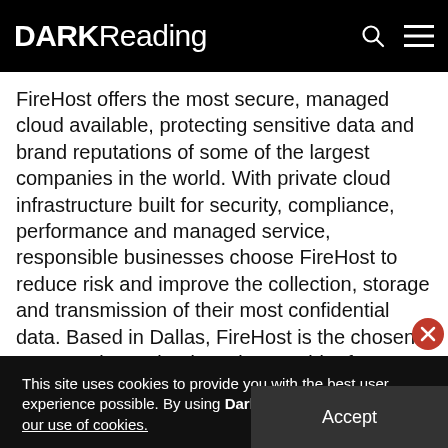DARK Reading
FireHost offers the most secure, managed cloud available, protecting sensitive data and brand reputations of some of the largest companies in the world. With private cloud infrastructure built for security, compliance, performance and managed service, responsible businesses choose FireHost to reduce risk and improve the collection, storage and transmission of their most confidential data. Based in Dallas, FireHost is the chosen secure private cloud service provider for brands that won't compromise on the security of their
This site uses cookies to provide you with the best user experience possible. By using Dark Reading, you accept our use of cookies.